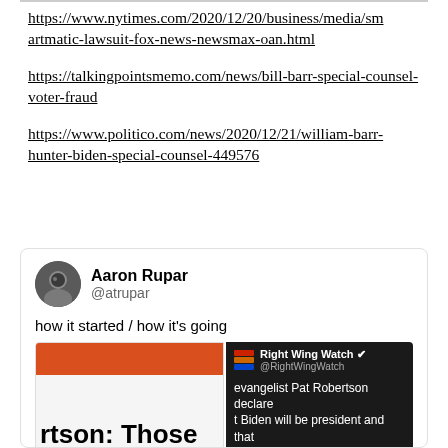https://www.nytimes.com/2020/12/20/business/media/smartmatic-lawsuit-fox-news-newsmax-oan.html
https://talkingpointsmemo.com/news/bill-barr-special-counsel-voter-fraud
https://www.politico.com/news/2020/12/21/william-barr-hunter-biden-special-counsel-449576
[Figure (screenshot): Tweet by Aaron Rupar (@atrupar) saying 'how it started / how it's going' with two embedded images side by side: left image shows partial headline 'rtson: Those' and 'rump Are R' on white background with orange/red banner; right image shows a Right Wing Watch tweet on dark background mentioning evangelist Pat Robertson declaring Biden will be president and that Trump lives in an alternate reality]